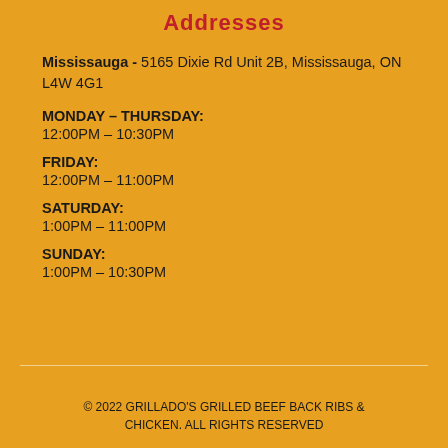Addresses
Mississauga - 5165 Dixie Rd Unit 2B, Mississauga, ON L4W 4G1
MONDAY – THURSDAY:
12:00PM – 10:30PM
FRIDAY:
12:00PM – 11:00PM
SATURDAY:
1:00PM – 11:00PM
SUNDAY:
1:00PM – 10:30PM
© 2022 GRILLADO'S GRILLED BEEF BACK RIBS & CHICKEN. ALL RIGHTS RESERVED